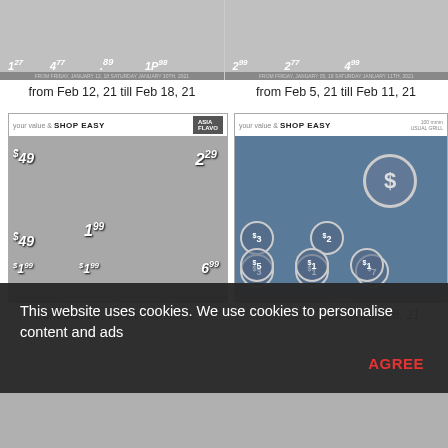[Figure (screenshot): Shop Easy flyer thumbnail - Feb 12 to Feb 18 2021]
from Feb 12, 21 till Feb 18, 21
[Figure (screenshot): Shop Easy flyer thumbnail - Feb 5 to Feb 11 2021]
from Feb 5, 21 till Feb 11, 21
[Figure (screenshot): Shop Easy flyer thumbnail - Jan 29 to Feb 4 2021]
from Jan 29, 21 till Feb 4, 21
[Figure (screenshot): Shop Easy flyer thumbnail - Jan 22 to Jan 28 2021]
from Jan 22, 21 till Jan 28, 21
This website uses cookies. We use cookies to personalise content and ads
AGREE